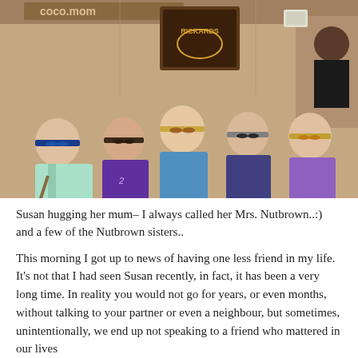[Figure (photo): Five women sitting around a round restaurant table, all wearing sunglasses. Interior of a casual restaurant with a Rickards sign visible in the background. The women appear to be smiling and posing for the photo.]
Susan hugging her mum– I always called her Mrs. Nutbrown..:) and a few of the Nutbrown sisters..
This morning I got up to news of having one less friend in my life. It's not that I had seen Susan recently, in fact, it has been a very long time. In reality you would not go for years, or even months, without talking to your partner or even a neighbour, but sometimes, unintentionally, we end up not speaking to a friend who mattered in our lives